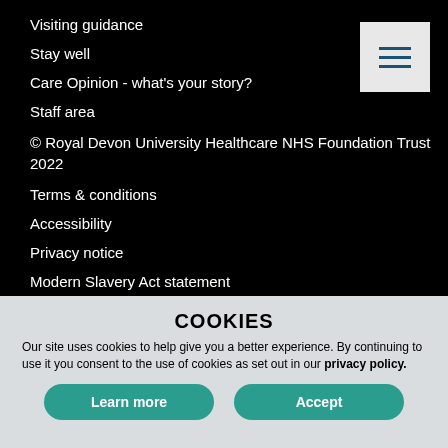Visiting guidance
Stay well
Care Opinion - what's your story?
Staff area
© Royal Devon University Healthcare NHS Foundation Trust 2022
Terms & conditions
Accessibility
Privacy notice
Modern Slavery Act statement
Royal Devon and Exeter Hospital (Wonford), Barrack Road, Exeter, EX2 5DW  Tel: 01392 411611
COOKIES
Our site uses cookies to help give you a better experience. By continuing to use it you consent to the use of cookies as set out in our privacy policy.